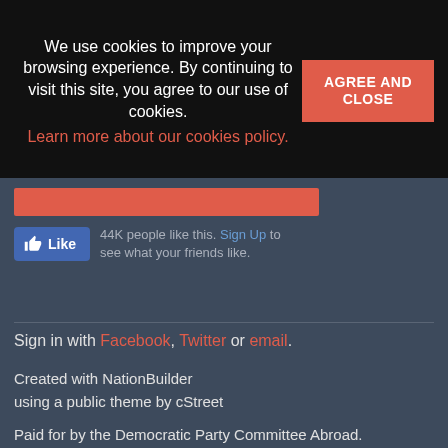We use cookies to improve your browsing experience. By continuing to visit this site, you agree to our use of cookies.
Learn more about our cookies policy.
AGREE AND CLOSE
[Figure (screenshot): Facebook Like widget showing a blue Like button with thumbs up icon and text: 44K people like this. Sign Up to see what your friends like.]
Sign in with Facebook, Twitter or email.
Created with NationBuilder using a public theme by cStreet
Paid for by the Democratic Party Committee Abroad.
www.democratsabroad.org
This communication is not authorized by any candidate or candidate’s committee.